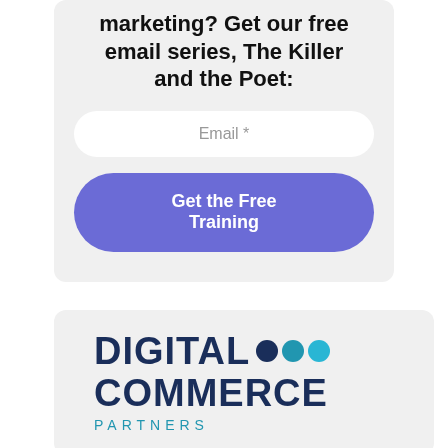marketing? Get our free email series, The Killer and the Poet:
Email *
Get the Free Training
[Figure (logo): Digital Commerce Partners logo with three colored circles (dark blue, teal, light teal) and the text DIGITAL COMMERCE PARTNERS]